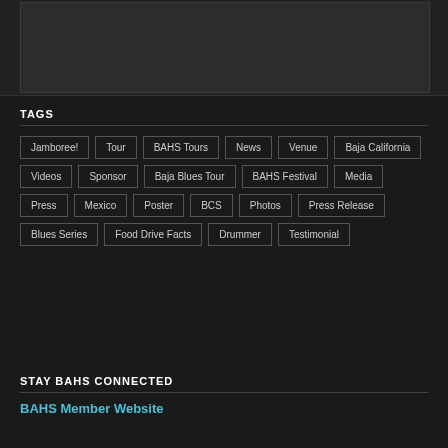[Figure (other): Top image area partially visible at top of page]
TAGS
Jamboree!
Tour
BAHS Tours
News
Venue
Baja California
Videos
Sponsor
Baja Blues Tour
BAHS Festival
Media
Press
Mexico
Poster
BCS
Photos
Press Release
Blues Series
Food Drive Facts
Drummer
Testimonial
STAY BAHS CONNECTED
BAHS Member Website